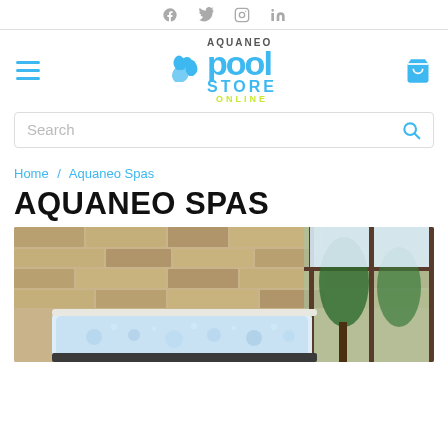Social icons: f, Twitter, Instagram, in
[Figure (logo): Aquaneo Pool Store Online logo with blue pool text and green ONLINE tagline, with water splash icon]
Search
Home / Aquaneo Spas
AQUANEO SPAS
[Figure (photo): Indoor hot tub / spa in a room with stone brick wall and large windows overlooking pine trees]